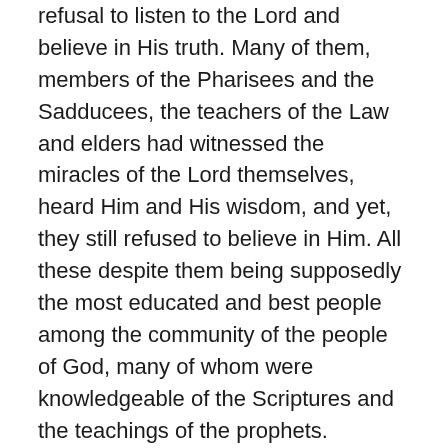refusal to listen to the Lord and believe in His truth. Many of them, members of the Pharisees and the Sadducees, the teachers of the Law and elders had witnessed the miracles of the Lord themselves, heard Him and His wisdom, and yet, they still refused to believe in Him. All these despite them being supposedly the most educated and best people among the community of the people of God, many of whom were knowledgeable of the Scriptures and the teachings of the prophets.
They should have been the first ones to believe in the Lord and to welcome Him and His disciples. Yet, most of them except some like Nicodemus and Joseph of Arimathea chose to ignore the truth, hardened their hearts and minds, preferring to continue in their prejudices and in their judgmental attitudes towards the Lord. They saw the Lord as a great rival and threat to their power, influence